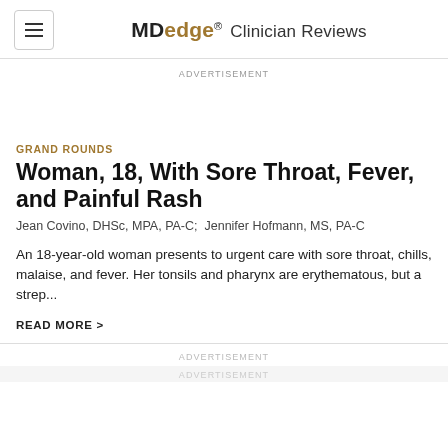MDedge® Clinician Reviews
ADVERTISEMENT
GRAND ROUNDS
Woman, 18, With Sore Throat, Fever, and Painful Rash
Jean Covino, DHSc, MPA, PA-C;  Jennifer Hofmann, MS, PA-C
An 18-year-old woman presents to urgent care with sore throat, chills, malaise, and fever. Her tonsils and pharynx are erythematous, but a strep...
READ MORE >
ADVERTISEMENT
ADVERTISEMENT